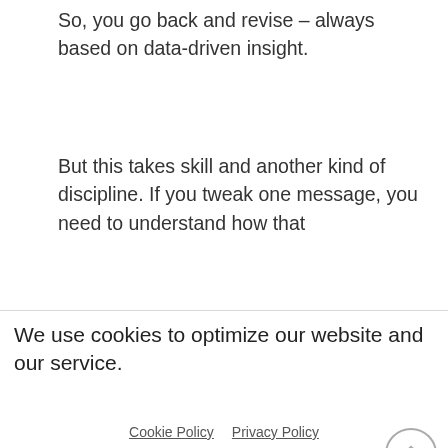So, you go back and revise – always based on data-driven insight.
But this takes skill and another kind of discipline. If you tweak one message, you need to understand how that
We use cookies to optimize our website and our service.
Accept cookies
Deny
Cookie Policy  Privacy Policy